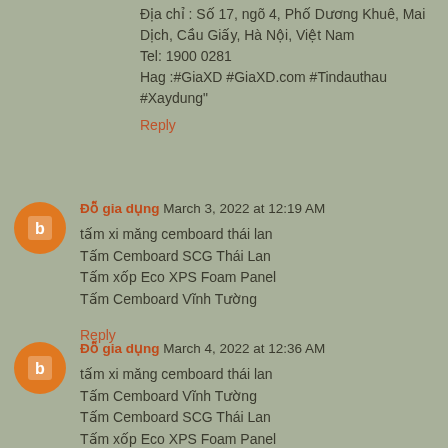Địa chỉ : Số 17, ngõ 4, Phố Dương Khuê, Mai Dịch, Cầu Giấy, Hà Nội, Việt Nam
Tel: 1900 0281
Hag :#GiaXD #GiaXD.com #Tindauthau #Xaydung"
Reply
Đỗ gia dụng March 3, 2022 at 12:19 AM
tấm xi măng cemboard thái lan
Tấm Cemboard SCG Thái Lan
Tấm xốp Eco XPS Foam Panel
Tấm Cemboard Vĩnh Tường
Reply
Đỗ gia dụng March 4, 2022 at 12:36 AM
tấm xi măng cemboard thái lan
Tấm Cemboard Vĩnh Tường
Tấm Cemboard SCG Thái Lan
Tấm xốp Eco XPS Foam Panel